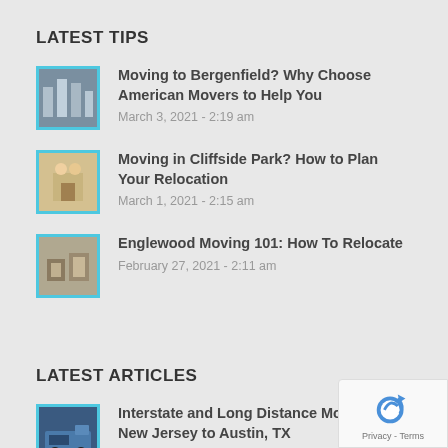LATEST TIPS
Moving to Bergenfield? Why Choose American Movers to Help You
March 3, 2021 - 2:19 am
Moving in Cliffside Park? How to Plan Your Relocation
March 1, 2021 - 2:15 am
Englewood Moving 101: How To Relocate
February 27, 2021 - 2:11 am
LATEST ARTICLES
Interstate and Long Distance Moving from New Jersey to Austin, TX
March 19, 2021 - 8:02 am
[Figure (logo): reCAPTCHA badge with Privacy and Terms text]